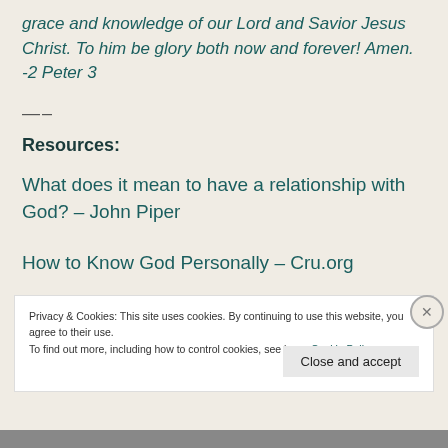grace and knowledge of our Lord and Savior Jesus Christ. To him be glory both now and forever! Amen. -2 Peter 3
—–
Resources:
What does it mean to have a relationship with God? – John Piper
How to Know God Personally – Cru.org
Privacy & Cookies: This site uses cookies. By continuing to use this website, you agree to their use.
To find out more, including how to control cookies, see here: Cookie Policy